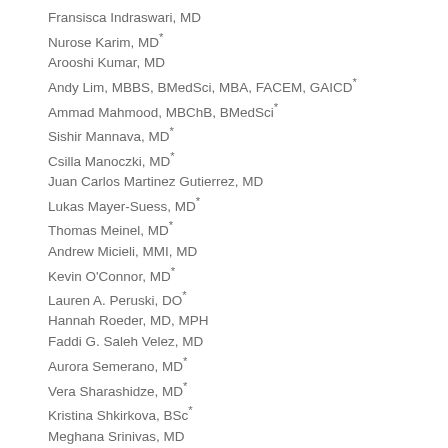Fransisca Indraswari, MD
Nurose Karim, MD*
Arooshi Kumar, MD
Andy Lim, MBBS, BMedSci, MBA, FACEM, GAICD*
Ammad Mahmood, MBChB, BMedSci*
Sishir Mannava, MD*
Csilla Manoczki, MD*
Juan Carlos Martinez Gutierrez, MD
Lukas Mayer-Suess, MD*
Thomas Meinel, MD*
Andrew Micieli, MMI, MD
Kevin O'Connor, MD*
Lauren A. Peruski, DO*
Hannah Roeder, MD, MPH
Faddi G. Saleh Velez, MD
Aurora Semerano, MD*
Vera Sharashidze, MD*
Kristina Shkirkova, BSc*
Meghana Srinivas, MD
Burton J. Tabaac, MD*
Ericka Samantha Teleg, MD*
Parth Upadhyaya, DO
Diana...